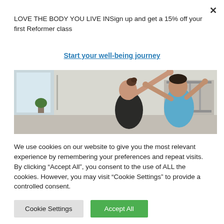LOVE THE BODY YOU LIVE INSign up and get a 15% off your first Reformer class
Start your well-being journey
[Figure (photo): Two women in a pilates studio; one in a blue top assisting the other who is reaching upward, with reformer equipment in the background.]
We use cookies on our website to give you the most relevant experience by remembering your preferences and repeat visits. By clicking “Accept All”, you consent to the use of ALL the cookies. However, you may visit “Cookie Settings” to provide a controlled consent.
Cookie Settings
Accept All